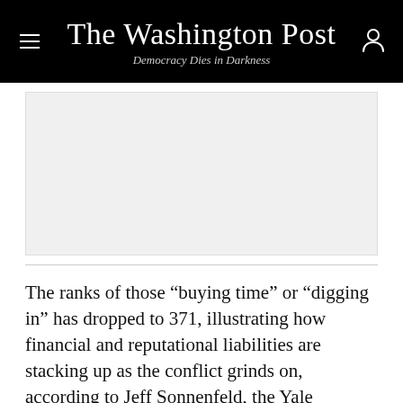The Washington Post
Democracy Dies in Darkness
[Figure (other): Advertisement placeholder block, light gray background]
The ranks of those “buying time” or “digging in” has dropped to 371, illustrating how financial and reputational liabilities are stacking up as the conflict grinds on, according to Jeff Sonnenfeld, the Yale professor behind the list.
He called Mr. Donahoe “(he appears “in the wrong…